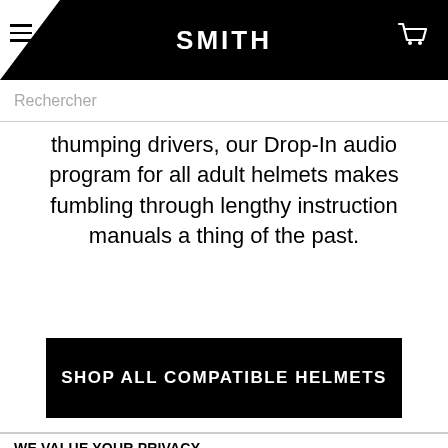SMITH
Rechercher
thumping drivers, our Drop-In audio program for all adult helmets makes fumbling through lengthy instruction manuals a thing of the past.
SHOP ALL COMPATIBLE HELMETS
WE VALUE YOUR PRIVACY
This site uses cookies and related technologies, as described in our privacy policy, for purposes that may include site operation, analytics, enhanced user experience, or advertising. You may choose to consent to our use of these technologies or manage your own preferences.
OK
Show details